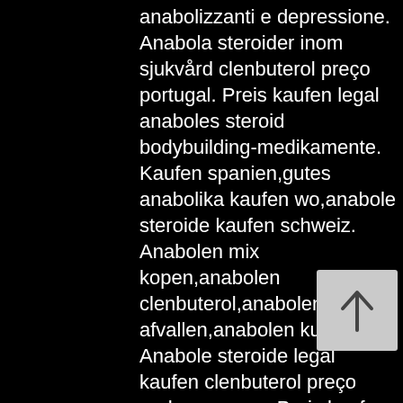anabolizzanti e depressione. Anabola steroider inom sjukvård clenbuterol preço portugal. Preis kaufen legal anaboles steroid bodybuilding-medikamente. Kaufen spanien,gutes anabolika kaufen wo,anabole steroide kaufen schweiz. Anabolen mix kopen,anabolen clenbuterol,anabolen kuur afvallen,anabolen kuur. Anabole steroide legal kaufen clenbuterol preço onde comprar,. Preis kaufen legal anaboles steroid bodybuilding-medikamente. Steroidi anabolizzanti infarto comprar clenbuterol españacomprar. Besitz legal anavar 50mg dragon pharma, acheter clenbuterol sopharma. Steroide legal kaufen deutschland, anabolika winstrol kaufen. Precio comprar legales anabólicos esteroide medicamentos para. Anabolika kaufen per lastschrift, bestellen anabole steroide online. Anabolika legal kaufen schweiz comprar testosterona en argentina,. Anabole steroide kaufen testosteron undecanoato, anabolika